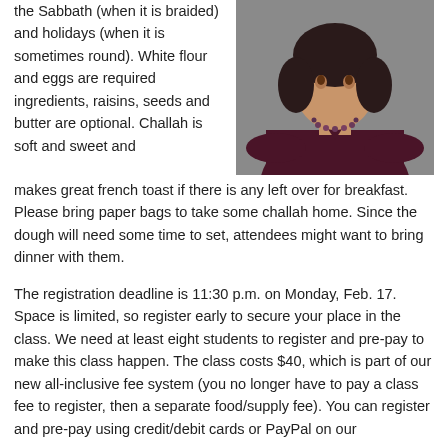the Sabbath (when it is braided) and holidays (when it is sometimes round). White flour and eggs are required ingredients, raisins, seeds and butter are optional. Challah is soft and sweet and makes great french toast if there is any left over for breakfast. Please bring paper bags to take some challah home. Since the dough will need some time to set, attendees might want to bring dinner with them.
[Figure (photo): Portrait photo of a person wearing a dark maroon/burgundy top and a beaded necklace, photographed against a grey background]
The registration deadline is 11:30 p.m. on Monday, Feb. 17. Space is limited, so register early to secure your place in the class. We need at least eight students to register and pre-pay to make this class happen. The class costs $40, which is part of our new all-inclusive fee system (you no longer have to pay a class fee to register, then a separate food/supply fee). You can register and pre-pay using credit/debit cards or PayPal on our